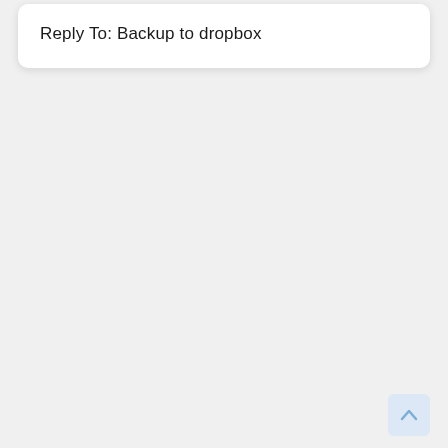Reply To: Backup to dropbox
[Figure (other): Back to top button — a small rounded square button with a light blue background and an upward-pointing chevron/arrow icon, positioned in the bottom-right corner of the page.]